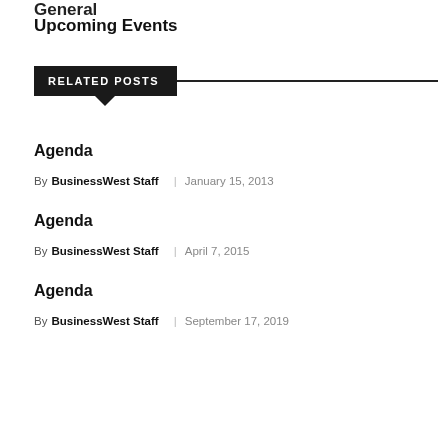General
Upcoming Events
RELATED POSTS
Agenda
By BusinessWest Staff | January 15, 2013
Agenda
By BusinessWest Staff | April 7, 2015
Agenda
By BusinessWest Staff | September 17, 2019